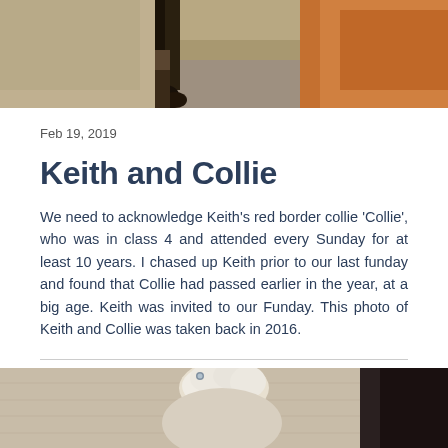[Figure (photo): Top portion of a dog (border collie) photographed outdoors on pavement, showing legs and fur, photo cropped at top]
Feb 19, 2019
Keith and Collie
We need to acknowledge Keith's red border collie 'Collie', who was in class 4 and attended every Sunday for at least 10 years. I chased up Keith prior to our last funday and found that Collie had passed earlier in the year, at a big age. Keith was invited to our Funday. This photo of Keith and Collie was taken back in 2016.
[Figure (photo): Bottom portion of a dog (appears to be a light-colored dog) photographed from above, partially visible, cropped at bottom of page]